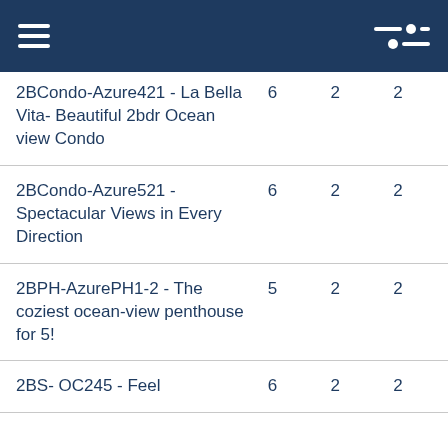Menu / Filter
| 2BCondo-Azure421 - La Bella Vita- Beautiful 2bdr Ocean view Condo | 6 | 2 | 2 |
| 2BCondo-Azure521 - Spectacular Views in Every Direction | 6 | 2 | 2 |
| 2BPH-AzurePH1-2 - The coziest ocean-view penthouse for 5! | 5 | 2 | 2 |
| 2BS- OC245 - Feel | 6 | 2 | 2 |